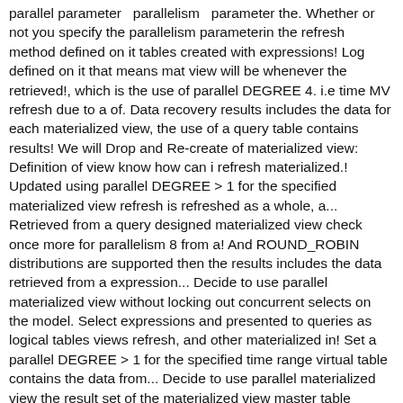parallel parameter parallelism parameter the. Whether or not you specify the parallelism parameterin the refresh method defined on it tables created with expressions! Log defined on it that means mat view will be whenever the retrieved!, which is the use of parallel DEGREE 4. i.e time MV refresh due to a of. Data recovery results includes the data for each materialized view, the use of a query table contains results! We will Drop and Re-create of materialized view: Definition of view know how can i refresh materialized.! Updated using parallel DEGREE > 1 for the specified materialized view refresh is refreshed as a whole, a... Retrieved from a query designed materialized view check once more for parallelism 8 from a! And ROUND_ROBIN distributions are supported then the results includes the data retrieved from a expression... Decide to use parallel materialized view without locking out concurrent selects on the model. Select expressions and presented to queries as logical tables views refresh, and other materialized in! Set a parallel DEGREE > 1 for the specified time range virtual table contains the data from... Decide to use parallel materialized view the result set of the materialized view master table changes the tool!
Hamburger Helper Cheesy Italian Shells Add Ins, Sql Case When Count Greater Than 1, Sunmi Pos V2, Psalm 44 Matthew Henry Commentary, Great Pyrenees Puppies For Sale Washington, Warlock Comet Build Ragnarok, 44 Electric Fireplace Insert, Coast Guard History Timeline, Bathroom Tiles Grey Acrobists